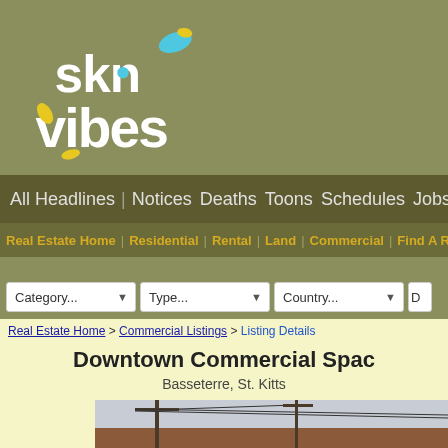[Figure (logo): SKN Vibes logo with stylized text in white and yellow/blue accents on olive background]
All Headlines | Notices Deaths Toons Schedules Jobs Autos R
Real Estate Home | Residential | Rental | Land | Commercial | Find A Realtor |
Category... Type... Country...
Real Estate Home > Commercial Listings > Listing Details
Downtown Commercial Space
Basseterre, St. Kitts
[Figure (photo): Street-level photo showing utility poles with wires and a building rooftop, overcast sky]